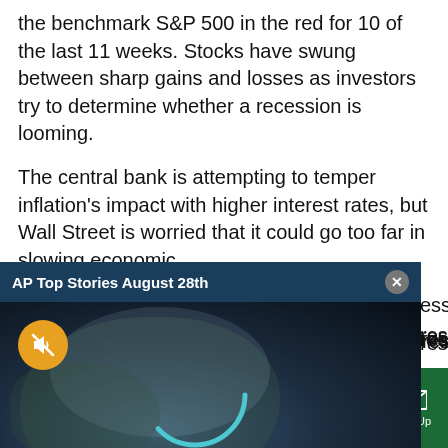the benchmark S&P 500 in the red for 10 of the last 11 weeks. Stocks have swung between sharp gains and losses as investors try to determine whether a recession is looming.
The central bank is attempting to temper inflation's impact with higher interest rates, but Wall Street is worried that it could go too far in slowing economic … recession.
[Figure (screenshot): AP Top Stories August 28th video overlay with NEWSMINUTE branding on dark background with earth image, mute button, AP logo, and loading spinner arc]
…r Jerome Powell's …ress. He is testifying …a day after testifying
Sections | NY Edition | Philly | Games | Advertise | Sign Up